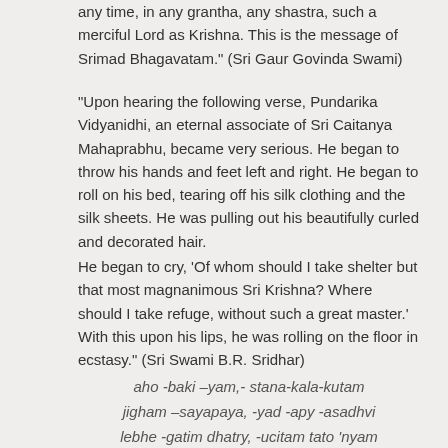any time, in any grantha, any shastra, such a merciful Lord as Krishna. This is the message of Srimad Bhagavatam.” (Sri Gaur Govinda Swami)
“Upon hearing the following verse, Pundarika Vidyanidhi, an eternal associate of Sri Caitanya Mahaprabhu, became very serious. He began to throw his hands and feet left and right. He began to roll on his bed, tearing off his silk clothing and the silk sheets. He was pulling out his beautifully curled and decorated hair.
He began to cry, ‘Of whom should I take shelter but that most magnanimous Sri Krishna? Where should I take refuge, without such a great master.’ With this upon his lips, he was rolling on the floor in ecstasy.” (Sri Swami B.R. Sridhar)
aho -baki –yam,- stana-kala-kutam
jigham –sayapaya, -yad -apy -asadhvi
lebhe -gatim dhatry, -ucitam tato ’nyam